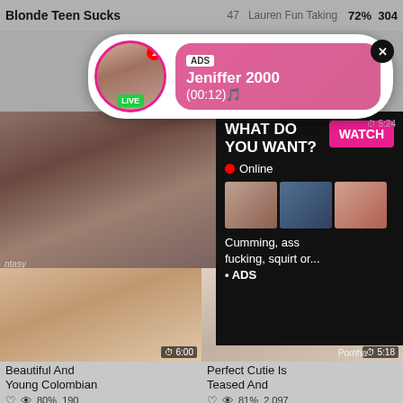Blonde Teen Sucks ... 47... Lauren Fun Taking ... 72% 304
[Figure (screenshot): Ad popup bubble with avatar, LIVE badge, ADS label, name Jeniffer 2000, time (00:12), pink gradient background, close X button]
ADS
Jeniffer 2000
(00:12)
[Figure (screenshot): Large video thumbnail showing adult content]
[Figure (screenshot): Black ad panel: WHAT DO YOU WANT? with WATCH button, Online status, three mini thumbnails, text: Cumming, ass fucking, squirt or... • ADS]
WHAT DO YOU WANT?
• Online
Cumming, ass fucking, squirt or...
• ADS
Chea
Husb
[Figure (screenshot): Bottom left video thumbnail adult content, duration 6:00]
[Figure (screenshot): Bottom right video thumbnail adult content, duration 5:18]
Beautiful And Young Colombian
80% 190
Perfect Cutie Is Teased And
81% 2,097